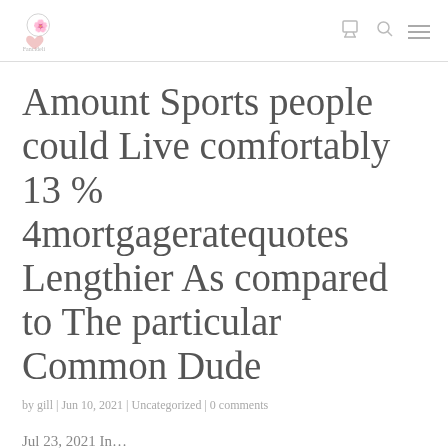[logo] [cart icon] [search icon] [menu icon]
Amount Sports people could Live comfortably 13 % 4mortgageratequotes Lengthier As compared to The particular Common Dude
by gill | Jun 10, 2021 | Uncategorized | 0 comments
Jul 23, 2021 In…